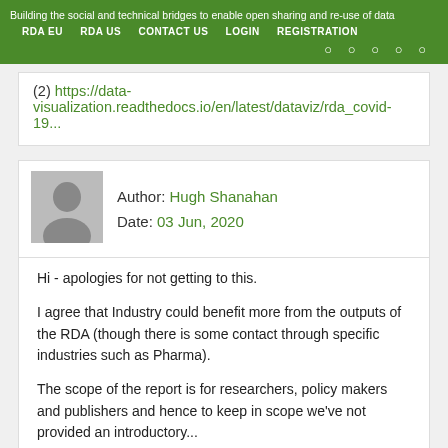Building the social and technical bridges to enable open sharing and re-use of data
RDA EU   RDA US   CONTACT US   LOGIN   REGISTRATION
(2) https://data-visualization.readthedocs.io/en/latest/dataviz/rda_covid-19...
Author: Hugh Shanahan
Date: 03 Jun, 2020
Hi - apologies for not getting to this.

I agree that Industry could benefit more from the outputs of the RDA (though there is some contact through specific industries such as Pharma).

The scope of the report is for researchers, policy makers and publishers and hence to keep in scope we've not provided an introductory...